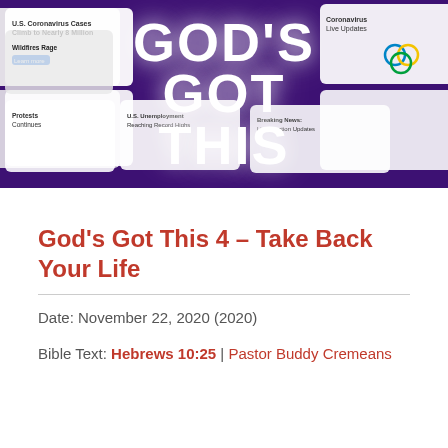[Figure (photo): Promotional image for 'God's Got This' sermon series. Purple/violet background with news headlines and media cards scattered around. Bold white text in center reads 'GOD'S GOT THIS' in large stacked letters.]
God's Got This 4 – Take Back Your Life
Date: November 22, 2020 (2020)
Bible Text: Hebrews 10:25 | Pastor Buddy Cremeans